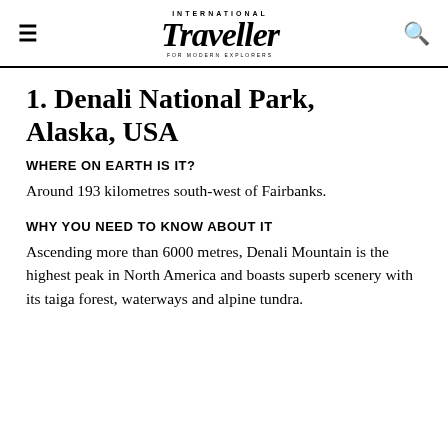International Traveller
1. Denali National Park, Alaska, USA
WHERE ON EARTH IS IT?
Around 193 kilometres south-west of Fairbanks.
WHY YOU NEED TO KNOW ABOUT IT
Ascending more than 6000 metres, Denali Mountain is the highest peak in North America and boasts superb scenery with its taiga forest, waterways and alpine tundra.